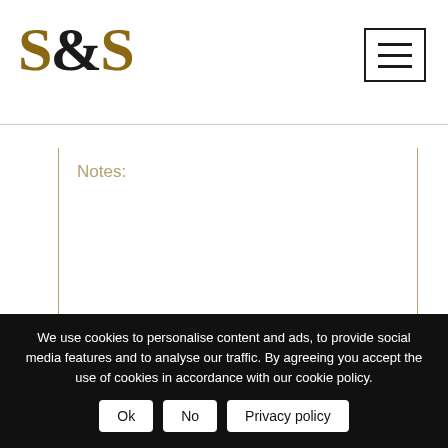[Figure (logo): S&S logo in gold and black serif font]
[Figure (other): Hamburger menu button icon with three horizontal lines]
Notes:
We use cookies to personalise content and ads, to provide social media features and to analyse our traffic. By agreeing you accept the use of cookies in accordance with our cookie policy.
Ok | No | Privacy policy